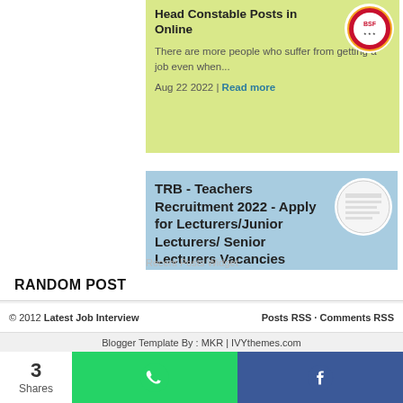Head Constable Posts in Online
There are more people who suffer from getting a job even when...
Aug 22 2022 | Read more
TRB - Teachers Recruitment 2022 - Apply for Lecturers/Junior Lecturers/ Senior Lecturers Vacancies
According to the recent sources, we can witness that most of the...
Aug 21 2022 | Read more
Recent Posts Widget
RANDOM POST
© 2012 Latest Job Interview
Posts RSS · Comments RSS
Blogger Template By : MKR | IVYthemes.com
3 Shares